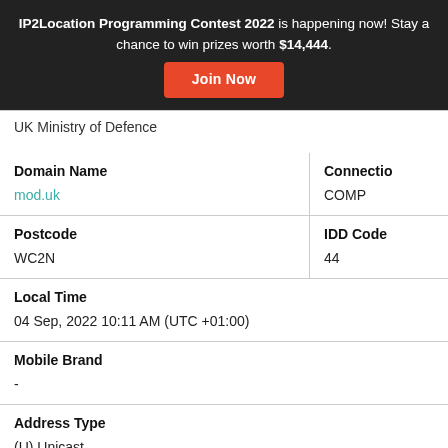IP2Location Programming Contest 2022 is happening now! Stay a chance to win prizes worth $14,444. Join Now
UK Ministry of Defence
| Domain Name | Connectio |
| --- | --- |
| mod.uk | COMP |
| Postcode | IDD Code |
| --- | --- |
| WC2N | 44 |
| Local Time |
| --- |
| 04 Sep, 2022 10:11 AM (UTC +01:00) |
| Mobile Brand |
| --- |
| - |
| Address Type |
| --- |
| (U) Unicast |